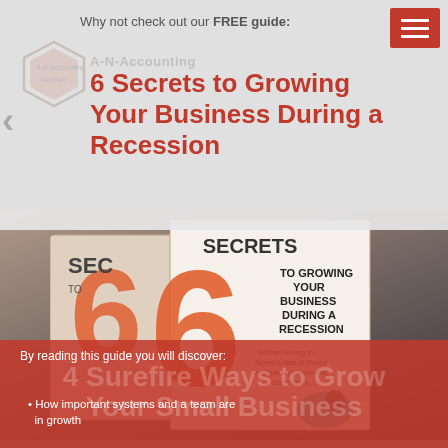Why not check out our FREE guide:
6 Secrets to Growing Your Business During a Recession
[Figure (photo): Two book covers showing '6 Secrets to Growing Your Business During a Recession' on a desk background]
By reading this guide you will discover:
4 Surefire Ways to Grow Your Small Business
How important systems and a team are in growth